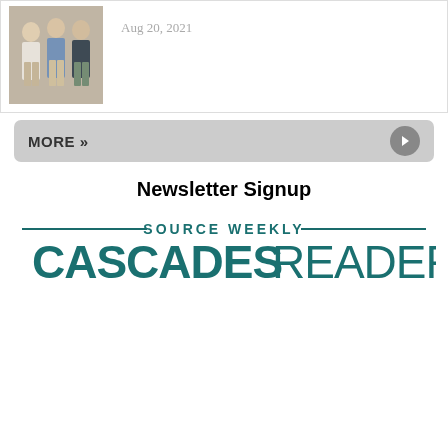[Figure (photo): Three women standing together for a photo]
Aug 20, 2021
MORE »
Newsletter Signup
[Figure (logo): Source Weekly Cascades Reader newsletter logo in teal/dark green]
[Figure (photo): Advertisement: Robert Plant Alison Krauss, August 25, Hayden Homes Amphitheater]